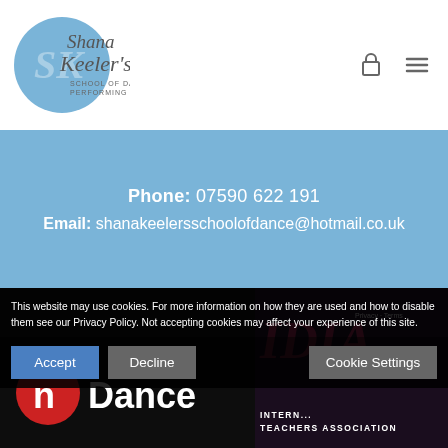[Figure (logo): Shana Keeler's School of Dance & Performing Arts logo — circular light blue background with stylized 'SK' monogram and cursive script text]
Phone: 07590 622 191
Email: shanakeelersschoolofdance@hotmail.co.uk
[Figure (photo): Dark background with red and white 'nDance' logo text]
[Figure (photo): Dark background with IDIA italic logo text and 'INTERNATIONAL TEACHERS ASSOCIATION' text below]
This website may use cookies. For more information on how they are used and how to disable them see our Privacy Policy. Not accepting cookies may affect your experience of this site.
Accept   Decline   Cookie Settings